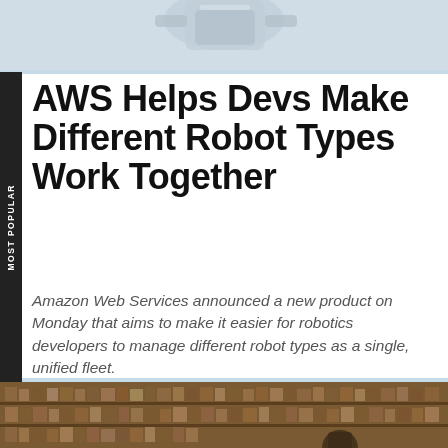[Figure (photo): Top portion of a robot image on a light blue/grey background]
AWS Helps Devs Make Different Robot Types Work Together
Amazon Web Services announced a new product on Monday that aims to make it easier for robotics developers to manage different robot types as a single, unified fleet.
[Figure (photo): Interior of a library with tall wooden bookshelves filled with old books, and a person partially visible in the lower portion]